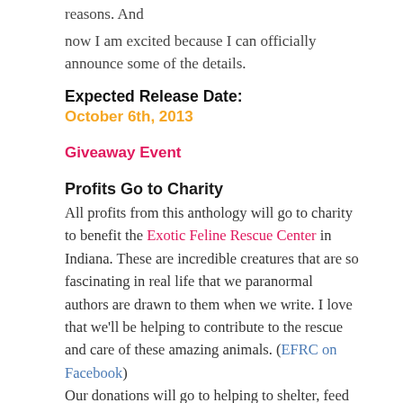reasons. And
now I am excited because I can officially announce some of the details.
Expected Release Date:
October 6th, 2013
Giveaway Event
Profits Go to Charity
All profits from this anthology will go to charity to benefit the Exotic Feline Rescue Center in Indiana. These are incredible creatures that are so fascinating in real life that we paranormal authors are drawn to them when we write. I love that we'll be helping to contribute to the rescue and care of these amazing animals. (EFRC on Facebook)
Our donations will go to helping to shelter, feed and care for over two hundred exotic cats–large and small–that call the center home. The mission of the rescue center is to provide a forever home for abused and abandoned cats, or any exotic feline that has no where else to go to live their lives. They do